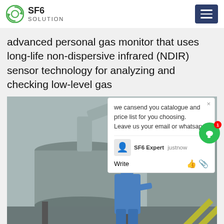SF6 SOLUTION
advanced personal gas monitor that uses long-life non-dispersive infrared (NDIR) sensor technology for analyzing and checking low-level gas
[Figure (photo): Worker in blue coveralls and blue hard hat working on large grey industrial SF6 gas equipment/transformer at a substation. Industrial pipes and structures visible. Chat popup overlay visible on the right side of the image.]
we cansend you catalogue and price list for you choosing. Leave us your email or whatsapp.
SF6 Expert  justnow
Write